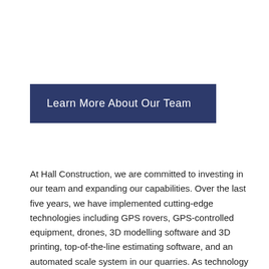Learn More About Our Team
At Hall Construction, we are committed to investing in our team and expanding our capabilities. Over the last five years, we have implemented cutting-edge technologies including GPS rovers, GPS-controlled equipment, drones, 3D modelling software and 3D printing, top-of-the-line estimating software, and an automated scale system in our quarries. As technology advances, so do we.